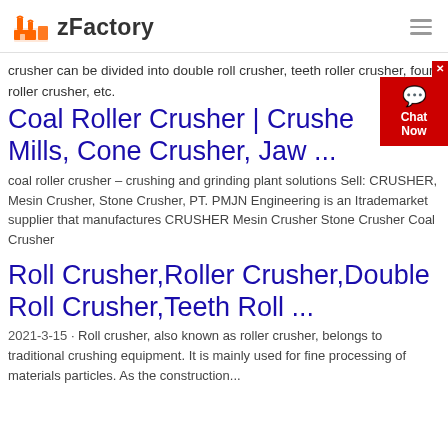zFactory
crusher can be divided into double roll crusher, teeth roller crusher, four roller crusher, etc.
Coal Roller Crusher | Crusher Mills, Cone Crusher, Jaw ...
coal roller crusher – crushing and grinding plant solutions Sell: CRUSHER, Mesin Crusher, Stone Crusher, PT. PMJN Engineering is an Itrademarket supplier that manufactures CRUSHER Mesin Crusher Stone Crusher Coal Crusher
Roll Crusher,Roller Crusher,Double Roll Crusher,Teeth Roll ...
2021-3-15 · Roll crusher, also known as roller crusher, belongs to traditional crushing equipment. It is mainly used for fine processing of materials particles. As the construction...